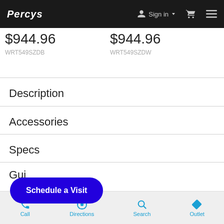PERCY'S   Sign in   [cart]   [menu]
$944.96
WRT549SZDB
$944.96
WRT549SZDW
Description
Accessories
Specs
Gui...
Schedule a Visit
Call   Directions   Search   Outlet